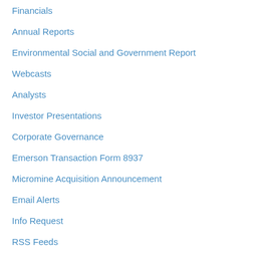Financials
Annual Reports
Environmental Social and Government Report
Webcasts
Analysts
Investor Presentations
Corporate Governance
Emerson Transaction Form 8937
Micromine Acquisition Announcement
Email Alerts
Info Request
RSS Feeds